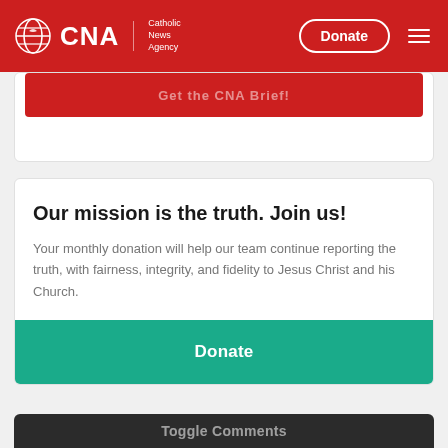[Figure (logo): CNA Catholic News Agency logo with globe icon on red header bar, with Donate button and hamburger menu]
[Figure (screenshot): Partially visible red card with a strikethrough button text]
Our mission is the truth. Join us!
Your monthly donation will help our team continue reporting the truth, with fairness, integrity, and fidelity to Jesus Christ and his Church.
Donate
Toggle Comments